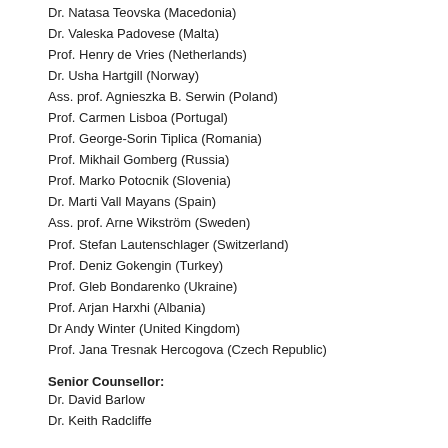Dr. Natasa Teovska (Macedonia)
Dr. Valeska Padovese (Malta)
Prof. Henry de Vries (Netherlands)
Dr. Usha Hartgill (Norway)
Ass. prof. Agnieszka B. Serwin (Poland)
Prof. Carmen Lisboa (Portugal)
Prof. George-Sorin Tiplica (Romania)
Prof. Mikhail Gomberg (Russia)
Prof. Marko Potocnik (Slovenia)
Dr. Marti Vall Mayans (Spain)
Ass. prof. Arne Wikström (Sweden)
Prof. Stefan Lautenschlager (Switzerland)
Prof. Deniz Gokengin (Turkey)
Prof. Gleb Bondarenko (Ukraine)
Prof. Arjan Harxhi (Albania)
Dr Andy Winter (United Kingdom)
Prof. Jana Tresnak Hercogova (Czech Republic)
Senior Counsellor:
Dr. David Barlow
Dr. Keith Radcliffe